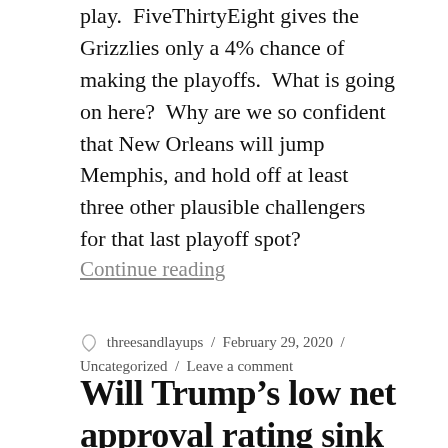play.  FiveThirtyEight gives the Grizzlies only a 4% chance of making the playoffs.  What is going on here?  Why are we so confident that New Orleans will jump Memphis, and hold off at least three other plausible challengers for that last playoff spot?
Continue reading
threesandlayups / February 29, 2020 / Uncategorized / Leave a comment
Will Trump's low net approval rating sink his re-election bid?